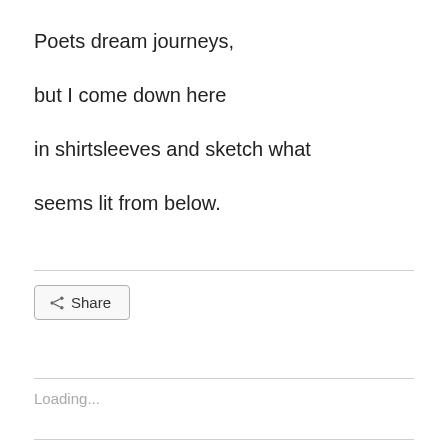Poets dream journeys,
but I come down here
in shirtsleeves and sketch what
seems lit from below.
[Figure (other): Share button with share icon]
Loading...